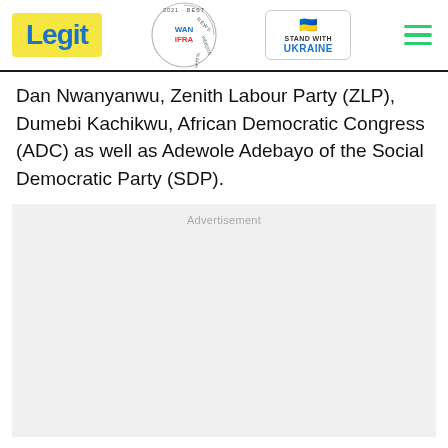Legit | WAN-IFRA 2021 Best News Website in Africa | Stand with Ukraine
Dan Nwanyanwu, Zenith Labour Party (ZLP), Dumebi Kachikwu, African Democratic Congress (ADC) as well as Adewole Adebayo of the Social Democratic Party (SDP).
Advertisement
The former president urged them to go about their